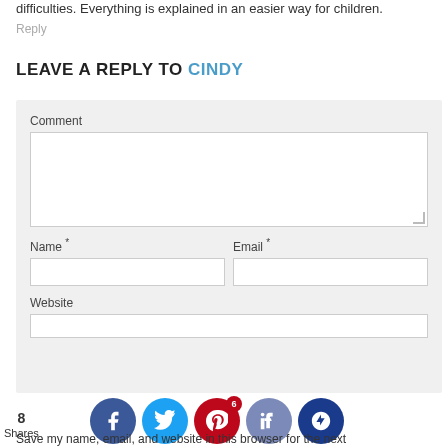difficulties. Everything is explained in an easier way for children.
Reply
LEAVE A REPLY TO CINDY
Comment
Name *
Email *
Website
Save my name, email, and website in this browser for the next